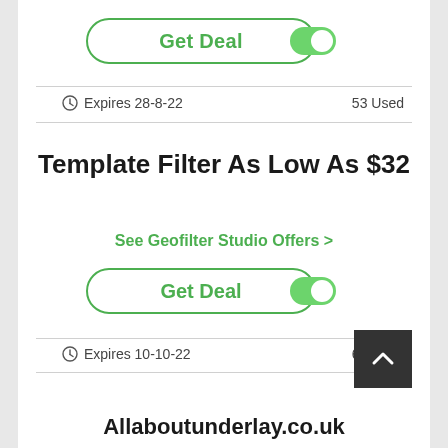[Figure (other): Green-outlined 'Get Deal' pill button with green toggle switch on right]
Expires 28-8-22    53 Used
Template Filter As Low As $32
See Geofilter Studio Offers >
[Figure (other): Green-outlined 'Get Deal' pill button with green toggle switch on right]
Expires 10-10-22    69 Used
[Figure (other): Dark square back-to-top button with white chevron]
Allaboutunderlay.co.uk